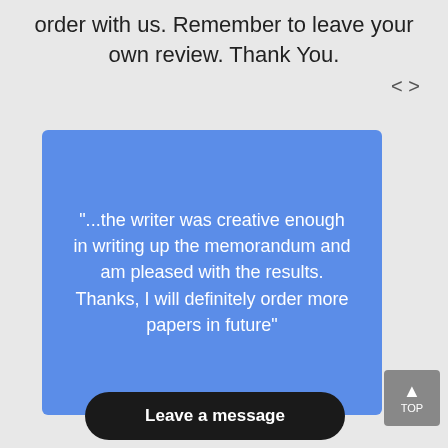order with us. Remember to leave your own review. Thank You.
[Figure (other): Navigation arrows < > for a testimonial slider]
"...the writer was creative enough in writing up the memorandum and am pleased with the results. Thanks, I will definitely order more papers in future"
Leave a message